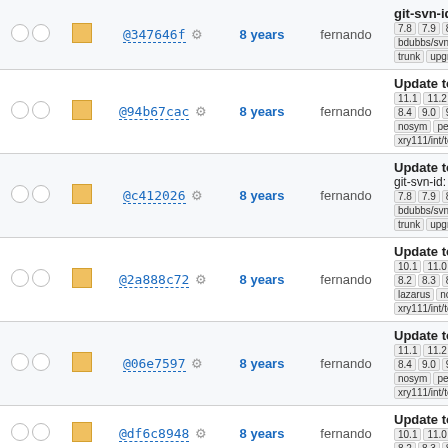| checks | status | hash | age | author | message |
| --- | --- | --- | --- | --- | --- |
| ○ ○ | ■ | @347646f ⚙ | 8 years | fernando | git-svn-id: ...
7.8 7.9 8... bdubbs/svn trunk upgra... |
| ○ ○ | ■ | @94b67cac ⚙ | 8 years | fernando | Update to gvf... 11.1 11.2 8.4 9.0 9... nosym perl-... xry111/int/tool |
| ○ ○ | ■ | @c412026 ⚙ | 8 years | fernando | Update to gtk... git-svn-id: ... 7.8 7.9 8... bdubbs/svn trunk upgra... |
| ○ ○ | ■ | @2a888c72 ⚙ | 8 years | fernando | Update to no... 10.1 11.0 8.2 8.3 8... lazarus nosy... xry111/int/tool |
| ○ ○ | ■ | @06e7597 ⚙ | 8 years | fernando | Update to bra... 11.1 11.2 8.4 9.0 9... nosym perl-... xry111/int/tool |
| ○ ○ | ■ | @df6c8948 ⚙ | 8 years | fernando | Update to adv... 10.1 11.0 8.2 8.3 8... |